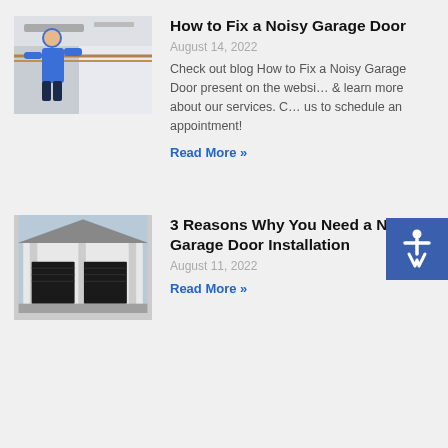[Figure (photo): Person in blue shirt working on a garage door track/mechanism from inside]
How to Fix a Noisy Garage Door
August 14, 2022
Check out blog How to Fix a Noisy Garage Door present on the website & learn more about our services. Call us to schedule an appointment!
Read More »
[Figure (photo): Exterior photo of a garage with three dark-colored garage doors]
3 Reasons Why You Need a New Garage Door Installation
August 11, 2022
Read More »